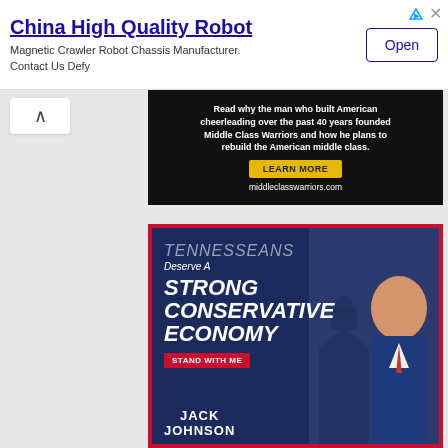[Figure (screenshot): Top advertisement banner for China High Quality Robot - Magnetic Crawler Robot Chassis Manufacturer with Open button]
[Figure (screenshot): Middle Class Warriors advertisement: 'Read why the man who built American cheerleading over the past 40 years founded Middle Class Warriors and how he plans to rebuild the American middle class. LEARN MORE. middleclasswarriors.com']
[Figure (screenshot): Jack Johnson political advertisement: TENNESSEANS Deserve A STRONG CONSERVATIVE ECONOMY. STAND WITH ME. JACK JOHNSON]